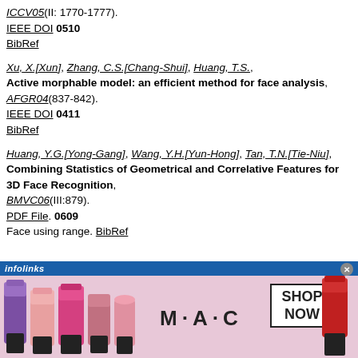ICCV05(II: 1770-1777). IEEE DOI 0510 BibRef
Xu, X.[Xun], Zhang, C.S.[Chang-Shui], Huang, T.S., Active morphable model: an efficient method for face analysis, AFGR04(837-842). IEEE DOI 0411 BibRef
Huang, Y.G.[Yong-Gang], Wang, Y.H.[Yun-Hong], Tan, T.N.[Tie-Niu], Combining Statistics of Geometrical and Correlative Features for 3D Face Recognition, BMVC06(III:879). PDF File. 0609 Face using range. BibRef
[Figure (photo): Advertisement banner showing M·A·C cosmetics lipsticks with SHOP NOW button]